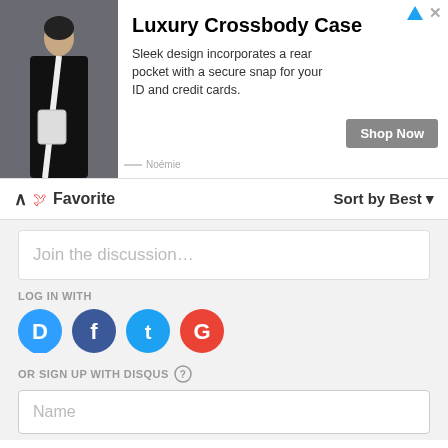[Figure (photo): Advertisement banner: Luxury Crossbody Case showing a person wearing the bag. Includes Shop Now button and Noémie brand label.]
Luxury Crossbody Case
Sleek design incorporates a rear pocket with a secure snap for your ID and credit cards.
Shop Now
Noémie
Favorite
Sort by Best
Join the discussion…
LOG IN WITH
OR SIGN UP WITH DISQUS
Name
Simon
a year ago
what is it with people taking vertical video's?
do you watch your TV on it's side?